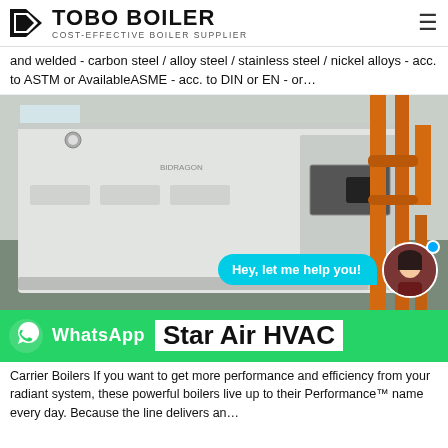TOBO BOILER — COST-EFFECTIVE BOILER SUPPLIER
and welded - carbon steel / alloy steel / stainless steel / nickel alloys - acc. to ASTM or AvailableASME - acc. to DIN or EN - or…
[Figure (photo): Industrial boiler unit installed in a facility room with orange pipework visible]
Hey, let me help you!
WhatsApp
Star Air HVAC
Carrier Boilers If you want to get more performance and efficiency from your radiant system, these powerful boilers live up to their Performance™ name every day. Because the line delivers an…